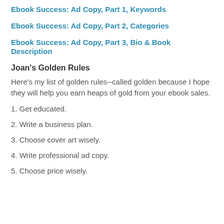Ebook Success: Ad Copy, Part 1, Keywords
Ebook Success: Ad Copy, Part 2, Categories
Ebook Success: Ad Copy, Part 3, Bio & Book Description
Joan's Golden Rules
Here's my list of golden rules--called golden because I hope they will help you earn heaps of gold from your ebook sales.
1. Get educated.
2. Write a business plan.
3. Choose cover art wisely.
4. Write professional ad copy.
5. Choose price wisely.